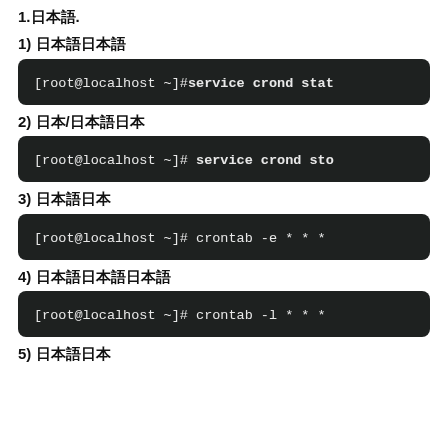1.日本語.
1) 日本語日本語
[Figure (screenshot): Terminal command: [root@localhost ~]#service crond stat]
2) 日本/日本語日本
[Figure (screenshot): Terminal command: [root@localhost ~]# service crond sto]
3) 日本語日本
[Figure (screenshot): Terminal command: [root@localhost ~]# crontab -e * * *]
4) 日本語日本語日本語
[Figure (screenshot): Terminal command: [root@localhost ~]# crontab -l * * *]
5) 日本語日本